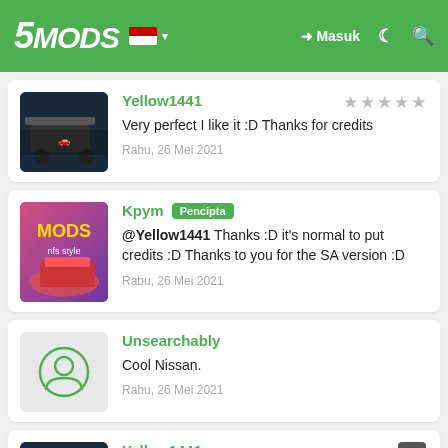5MODS - Masuk
Yellow1441 - Very perfect I like it :D Thanks for credits - Rabu, 26 Mei 2021
Kpym Pencipta - @Yellow1441 Thanks :D it's normal to put credits :D Thanks to you for the SA version :D - Rabu, 26 Mei 2021
Unsearchably - Cool Nissan. - Rabu, 26 Mei 2021
Yellow1441 - @Kpym Not problem :D - Kamis, 27 Mei 2021